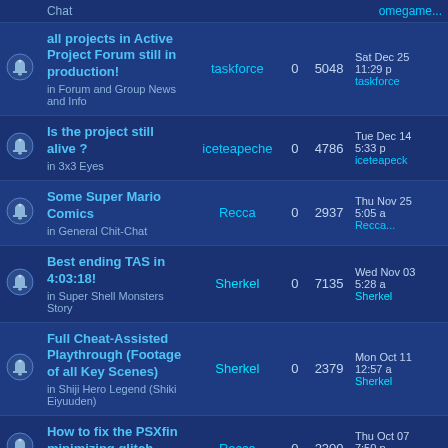|  | Topic | Author | Replies | Views | Last Post |
| --- | --- | --- | --- | --- | --- |
|  | all projects in Active Project Forum still in production! in Forum and Group News and Info | taskforce | 0 | 5048 | Sat Dec 25 11:29 p taskforce |
|  | Is the project still alive ? in 3x3 Eyes | iceteapeche | 0 | 4786 | Tue Dec 14 5:33 p iceteapeck |
|  | Some Super Mario Comics in General Chit-Chat | Recca | 0 | 2937 | Thu Nov 25 5:05 a Recca |
|  | Best ending TAS in 4:03:18! in Super Shell Monsters Story | Sherkel | 0 | 7135 | Wed Nov 03 5:28 a Sherkel |
|  | Full Cheat-Assisted Playthrough (Footage of all Key Scenes) in Shiji Hero Legend (Shiki Eiyuuden) | Sherkel | 0 | 2379 | Mon Oct 11 12:57 a Sherkel |
|  | How to fix the PSXfin minimizing glitch | Recca | 0 | 2300 | Thu Oct 07 7:50 p Recca |